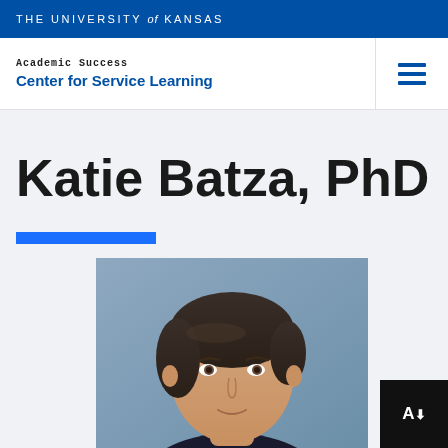THE UNIVERSITY of KANSAS
Academic Success
Center for Service Learning
Katie Batza, PhD
[Figure (photo): Headshot photo of Katie Batza, a person with short dark hair against a blue-grey background]